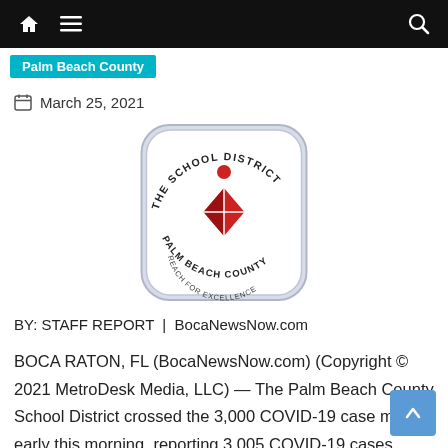Navigation bar with home, menu, and search icons
Palm Beach County
March 25, 2021
[Figure (logo): The School District of Palm Beach County logo — rounded square badge with red figure and diamond shape, text reading 'THE SCHOOL DISTRICT REACH FOR EXCELLENCE PALM BEACH COUNTY']
BY: STAFF REPORT | BocaNewsNow.com
BOCA RATON, FL (BocaNewsNow.com) (Copyright © 2021 MetroDesk Media, LLC) — The Palm Beach County School District crossed the 3,000 COVID-19 case mark early this morning, reporting 3,005 COVID-19 cases since